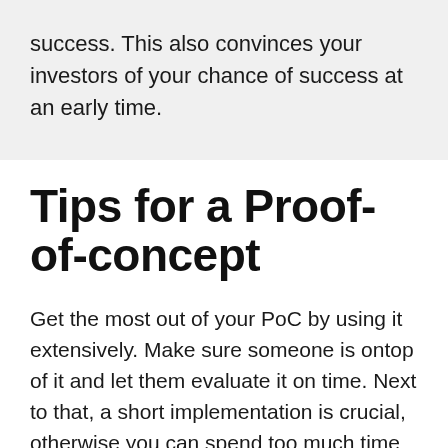success. This also convinces your investors of your chance of success at an early time.
Tips for a Proof-of-concept
Get the most out of your PoC by using it extensively. Make sure someone is ontop of it and let them evaluate it on time. Next to that, a short implementation is crucial, otherwise you can spend too much time on technology that ends up not working. It´s also important